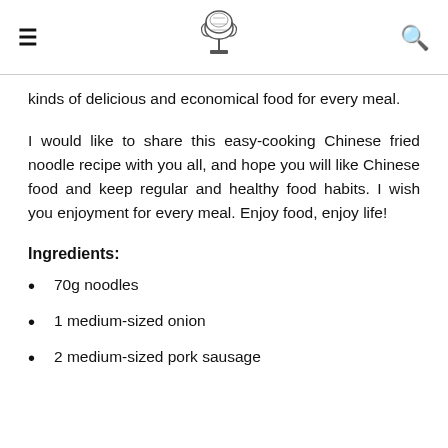≡  [logo]  🔍
kinds of delicious and economical food for every meal.
I would like to share this easy-cooking Chinese fried noodle recipe with you all, and hope you will like Chinese food and keep regular and healthy food habits. I wish you enjoyment for every meal. Enjoy food, enjoy life!
Ingredients:
70g noodles
1 medium-sized onion
2 medium-sized pork sausage